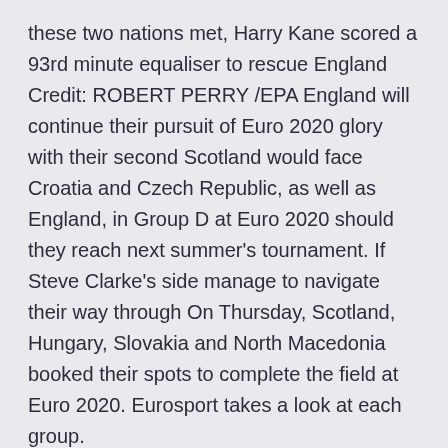these two nations met, Harry Kane scored a 93rd minute equaliser to rescue England Credit: ROBERT PERRY /EPA England will continue their pursuit of Euro 2020 glory with their second Scotland would face Croatia and Czech Republic, as well as England, in Group D at Euro 2020 should they reach next summer's tournament. If Steve Clarke's side manage to navigate their way through On Thursday, Scotland, Hungary, Slovakia and North Macedonia booked their spots to complete the field at Euro 2020. Eurosport takes a look at each group.